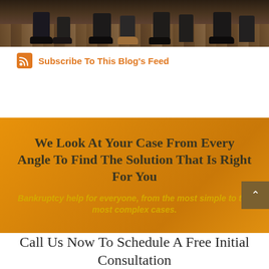[Figure (photo): Photograph showing the lower half of a group of people seated, with dress shoes and pant legs visible on a wood floor — a law firm team photo cropped to show feet/legs only.]
Subscribe To This Blog's Feed
We Look At Your Case From Every Angle To Find The Solution That Is Right For You
Bankruptcy help for everyone, from the most simple to the most complex cases.
Call Us Now To Schedule A Free Initial Consultation
Contact our Nashville office at 615-686-2279 or our